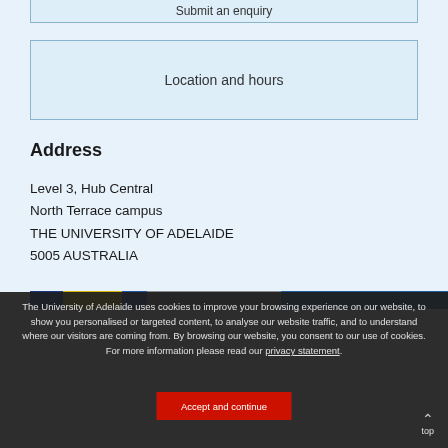Submit an enquiry
Location and hours
Address
Level 3, Hub Central
North Terrace campus
THE UNIVERSITY OF ADELAIDE
5005 AUSTRALIA
[Figure (photo): Horizontal strip showing a partial map or building image with blue, gold, and grey colors]
The University of Adelaide uses cookies to improve your browsing experience on our website, to show you personalised or targeted content, to analyse our website traffic, and to understand where our visitors are coming from. By browsing our website, you consent to our use of cookies. For more information please read our privacy statement.
Accept and continue
top